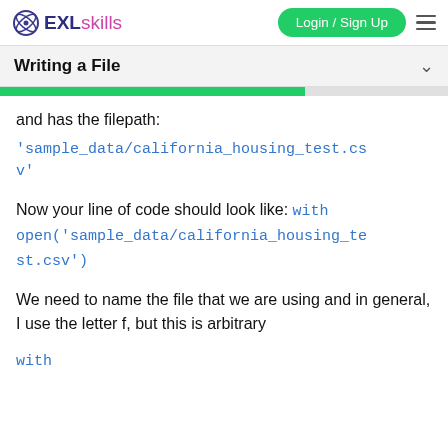EXL skills — Login / Sign Up
Writing a File
and has the filepath:
'sample_data/california_housing_test.csv'
Now your line of code should look like: with open('sample_data/california_housing_test.csv')
We need to name the file that we are using and in general, I use the letter f, but this is arbitrary
with